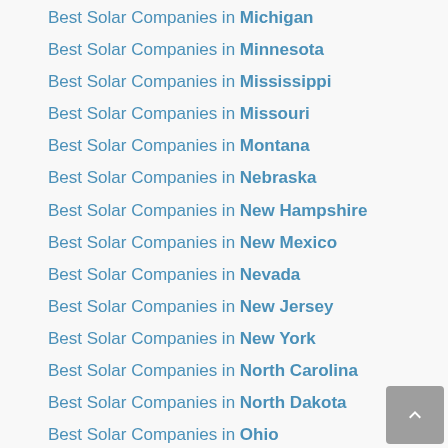Best Solar Companies in Michigan
Best Solar Companies in Minnesota
Best Solar Companies in Mississippi
Best Solar Companies in Missouri
Best Solar Companies in Montana
Best Solar Companies in Nebraska
Best Solar Companies in New Hampshire
Best Solar Companies in New Mexico
Best Solar Companies in Nevada
Best Solar Companies in New Jersey
Best Solar Companies in New York
Best Solar Companies in North Carolina
Best Solar Companies in North Dakota
Best Solar Companies in Ohio
Best Solar Companies in Oklahoma
Best Solar Companies in Oregon